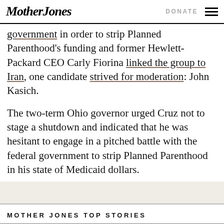Mother Jones | DONATE
government in order to strip Planned Parenthood's funding and former Hewlett-Packard CEO Carly Fiorina linked the group to Iran, one candidate strived for moderation: John Kasich.
The two-term Ohio governor urged Cruz not to stage a shutdown and indicated that he was hesitant to engage in a pitched battle with the federal government to strip Planned Parenthood in his state of Medicaid dollars.
MOTHER JONES TOP STORIES
[Figure (photo): A partially visible photograph at the bottom of the page, showing a person, used as a thumbnail for a top story.]